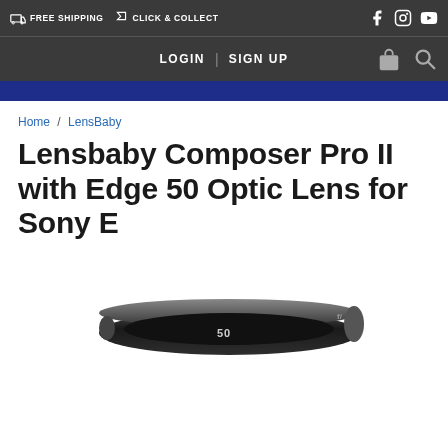FREE SHIPPING  CLICK & COLLECT
LOGIN | SIGN UP
Home / LensBaby
Lensbaby Composer Pro II with Edge 50 Optic Lens for Sony E
[Figure (photo): Black circular Lensbaby Edge 50 optic lens element, low-angle view showing the engraved '50' marking on the lens barrel]